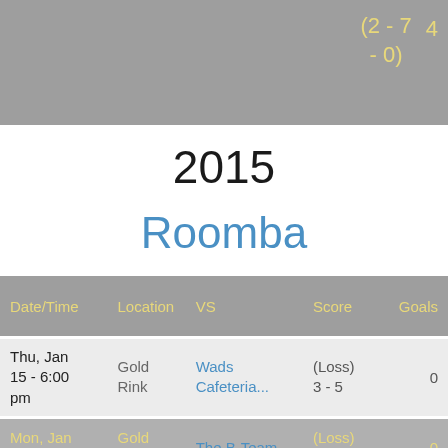| (2 - 7 - 0) | 4 |
2015
Roomba
| Date/Time | Location | VS | Score | Goals |
| --- | --- | --- | --- | --- |
| Thu, Jan 15 - 6:00 pm | Gold Rink | Wads Cafeteria... | (Loss) 3 - 5 | 0 |
| Mon, Jan 19 - 5:15 | Gold Rink | The B-Team | (Loss) 1 - 3 | 0 |